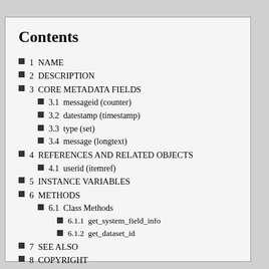Contents
1  NAME
2  DESCRIPTION
3  CORE METADATA FIELDS
3.1  messageid (counter)
3.2  datestamp (timestamp)
3.3  type (set)
3.4  message (longtext)
4  REFERENCES AND RELATED OBJECTS
4.1  userid (itemref)
5  INSTANCE VARIABLES
6  METHODS
6.1  Class Methods
6.1.1  get_system_field_info
6.1.2  get_dataset_id
7  SEE ALSO
8  COPYRIGHT
8.1  LICENSE